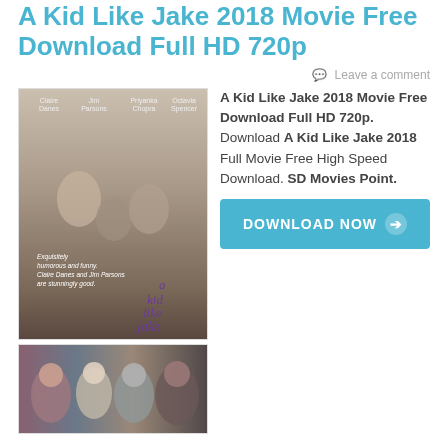A Kid Like Jake 2018 Movie Free Download Full HD 720p
Leave a comment
[Figure (photo): Movie poster for 'A Kid Like Jake' showing characters and the film title in purple text]
[Figure (photo): Movie still showing cast members of A Kid Like Jake]
A Kid Like Jake 2018 Movie Free Download Full HD 720p. Download A Kid Like Jake 2018 Full Movie Free High Speed Download. SD Movies Point.
[Figure (other): DOWNLOAD NOW button in teal/cyan color]
A Kid Like Jake 2018 Movie Free Download Full HD 720p , Ann Dowd , Claire Danes , Priyanka Chopra
Barfi 2012 Bluray Full Movie